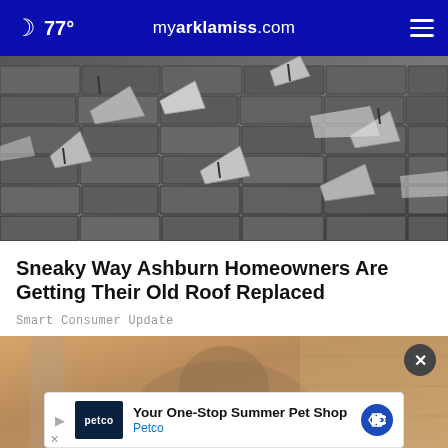77° myarklamiss.com
[Figure (photo): Close-up black and white photo of damaged, curled, and lifted asphalt roof shingles]
Sneaky Way Ashburn Homeowners Are Getting Their Old Roof Replaced
Smart Consumer Update
[Figure (photo): Partial photo of an animal with a Petco advertisement banner overlay reading 'Your One-Stop Summer Pet Shop' with Petco branding]
Your One-Stop Summer Pet Shop
Petco